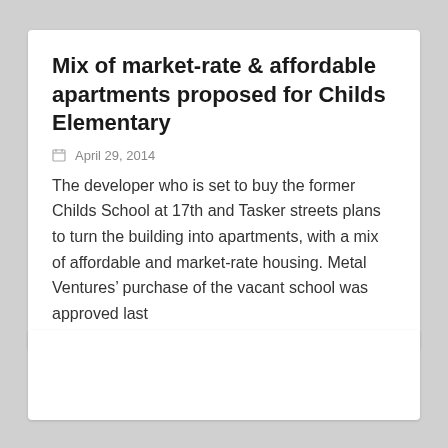Mix of market-rate & affordable apartments proposed for Childs Elementary
April 29, 2014
The developer who is set to buy the former Childs School at 17th and Tasker streets plans to turn the building into apartments, with a mix of affordable and market-rate housing. Metal Ventures’ purchase of the vacant school was approved last